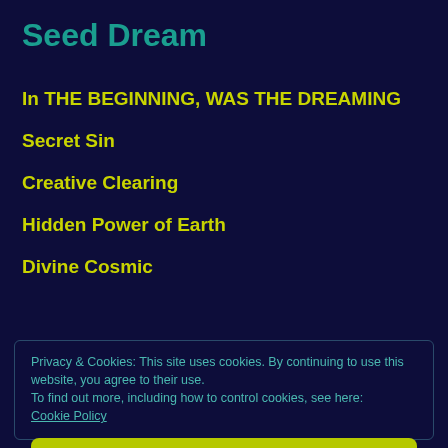Seed Dream
In THE BEGINNING, WAS THE DREAMING
Secret Sin
Creative Clearing
Hidden Power of Earth
Divine Cosmic
Privacy & Cookies: This site uses cookies. By continuing to use this website, you agree to their use.
To find out more, including how to control cookies, see here: Cookie Policy
Close and accept